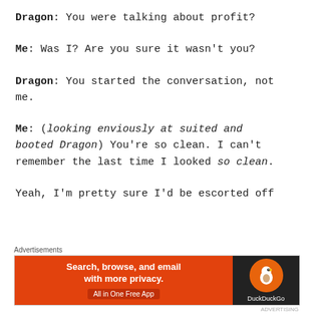Dragon: You were talking about profit?
Me: Was I? Are you sure it wasn't you?
Dragon: You started the conversation, not me.
Me: (looking enviously at suited and booted Dragon) You're so clean. I can't remember the last time I looked so clean.
Yeah, I'm pretty sure I'd be escorted off
[Figure (screenshot): DuckDuckGo advertisement banner with orange background, text 'Search, browse, and email with more privacy. All in One Free App' and DuckDuckGo logo on dark background.]